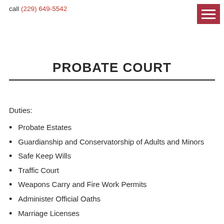call (229) 649-5542
PROBATE COURT
Duties:
Probate Estates
Guardianship and Conservatorship of Adults and Minors
Safe Keep Wills
Traffic Court
Weapons Carry and Fire Work Permits
Administer Official Oaths
Marriage Licenses
Birth and Death Records